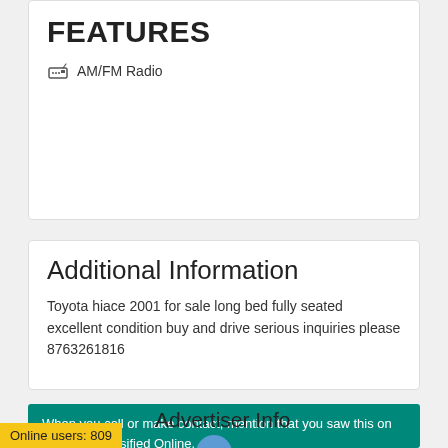FEATURES
AM/FM Radio
Additional Information
Toyota hiace 2001 for sale long bed fully seated excellent condition buy and drive serious inquiries please 8763261816
When you call or make contact, mention that you saw this on Jamaica Classified Online.
Advertiser Info